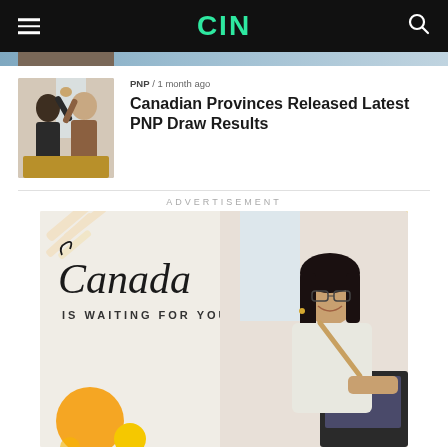CIN
[Figure (photo): Two people high-fiving in an office or workspace setting, thumbnail image for article]
PNP / 1 month ago
Canadian Provinces Released Latest PNP Draw Results
ADVERTISEMENT
[Figure (illustration): Canada immigration advertisement: 'Canada IS WAITING FOR YOU!' with a young woman smiling at a laptop, yellow decorative shapes]